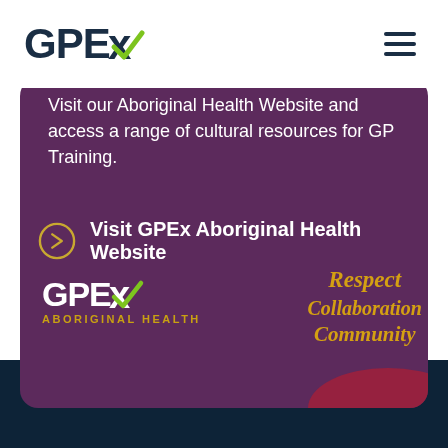GPEx (logo) - navigation header with hamburger menu
Visit our Aboriginal Health Website and access a range of cultural resources for GP Training.
Visit GPEx Aboriginal Health Website
[Figure (logo): GPEx Aboriginal Health logo with white GPEx text, green checkmark, and gold ABORIGINAL HEALTH subtitle, alongside Respect Collaboration Community text in gold italic on purple background]